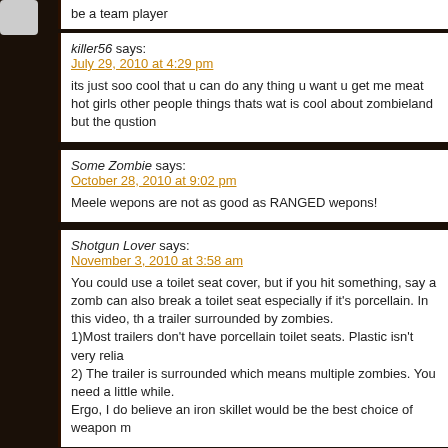be a team player
killer56 says:
July 29, 2010 at 4:29 pm
its just soo cool that u can do any thing u want u get me meat hot girls other people things thats wat is cool about zombieland but the qustion
Some Zombie says:
October 28, 2010 at 9:02 pm
Meele wepons are not as good as RANGED wepons!
Shotgun Lover says:
November 3, 2010 at 3:58 am
You could use a toilet seat cover, but if you hit something, say a zombie, can also break a toilet seat especially if it's porcellain. In this video, a trailer surrounded by zombies.
1)Most trailers don't have porcellain toilet seats. Plastic isn't very reliable.
2) The trailer is surrounded which means multiple zombies. You need a little while.
Ergo, I do believe an iron skillet would be the best choice of weapon m
redd says:
December 27, 2010 at 12:49 am
I'm only approving the use of melee weapons when your gun is too sm way.